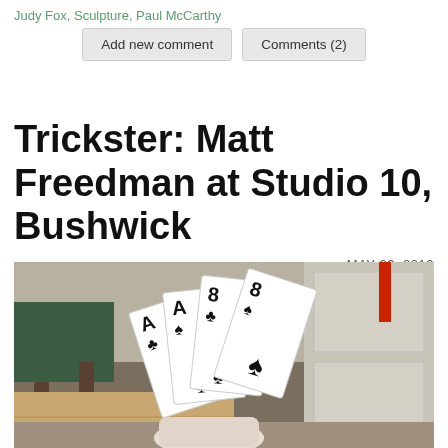Judy Fox, Sculpture, Paul McCarthy
Add new comment | Comments (2)
Trickster: Matt Freedman at Studio 10, Bushwick
MAY 23, 2013
[Figure (photo): A hand holding oversized playing cards fanned out showing Ace of Clubs, Ace of Spades, 8 of Clubs, 8 of Spades in an indoor room setting with a chair and wooden floor visible.]